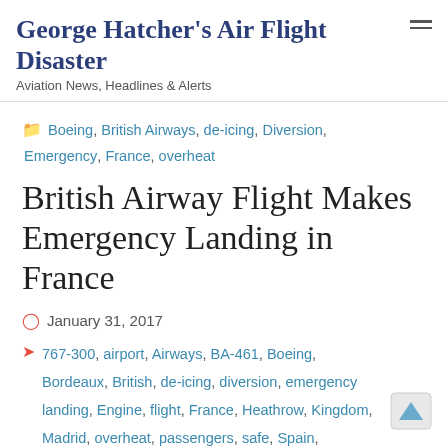George Hatcher's Air Flight Disaster — Aviation News, Headlines & Alerts
Boeing, British Airways, de-icing, Diversion, Emergency, France, overheat
British Airway Flight Makes Emergency Landing in France
January 31, 2017
767-300, airport, Airways, BA-461, Boeing, Bordeaux, British, de-icing, diversion, emergency landing, Engine, flight, France, Heathrow, Kingdom, Madrid, overheat, passengers, safe, Spain, system, United